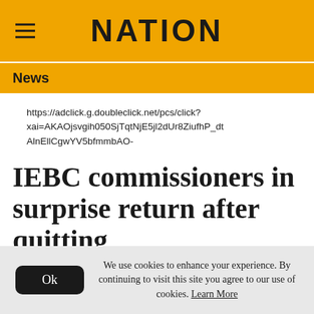NATION
News
https://adclick.g.doubleclick.net/pcs/click?xai=AKAOjsvgih050SjTqtNjE5jl2dUr8ZiufhP_dtAlnEllCgwYV5bfmmbAO-
IEBC commissioners in surprise return after quitting
Friday, August 24, 2018 — updated on June 28, 2020
We use cookies to enhance your experience. By continuing to visit this site you agree to our use of cookies. Learn More